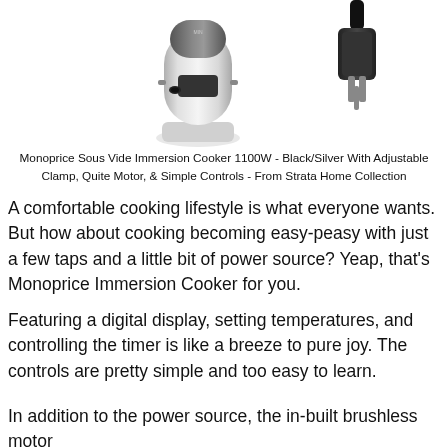[Figure (photo): Product photo showing a Monoprice Sous Vide Immersion Cooker (stainless steel cylindrical device) on the left and a US power plug on the right, against a white background.]
Monoprice Sous Vide Immersion Cooker 1100W - Black/Silver With Adjustable Clamp, Quite Motor, & Simple Controls - From Strata Home Collection
A comfortable cooking lifestyle is what everyone wants. But how about cooking becoming easy-peasy with just a few taps and a little bit of power source? Yeap, that's Monoprice Immersion Cooker for you.
Featuring a digital display, setting temperatures, and controlling the timer is like a breeze to pure joy. The controls are pretty simple and too easy to learn.
In addition to the power source, the in-built brushless motor